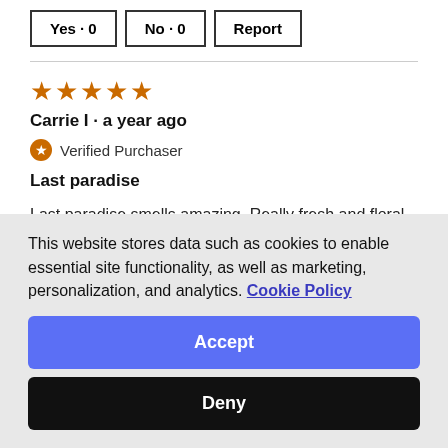Yes · 0  No · 0  Report
★★★★★
Carrie I · a year ago
Verified Purchaser
Last paradise
Last paradise smells amazing. Really fresh and floral without being overpowering.
This website stores data such as cookies to enable essential site functionality, as well as marketing, personalization, and analytics. Cookie Policy
Accept
Deny